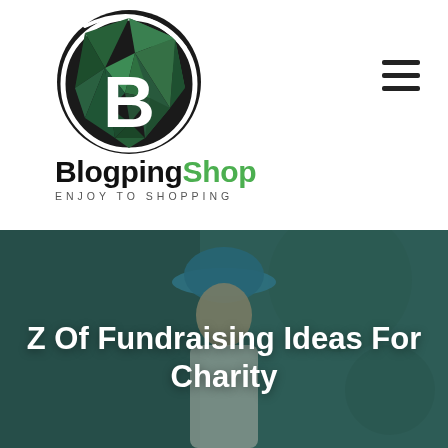[Figure (logo): BlogpingShop logo — green geometric polygonal B letter inside a dark circle with white ring accent]
BlogpingShop
ENJOY TO SHOPPING
[Figure (photo): Hero banner image: woman wearing a blue hat, smiling, with teal/dark overlay background and decorative circles]
Z Of Fundraising Ideas For Charity